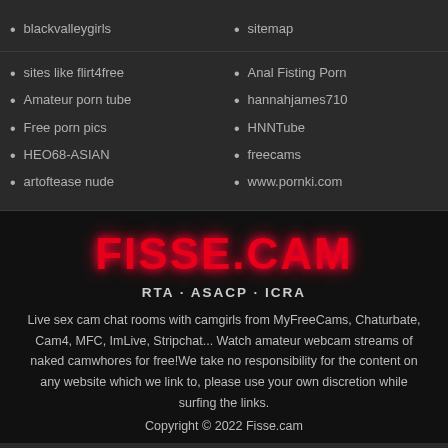blackvalleygirls
sitemap
sites like flirt4free
Anal Fisting Porn
Amateur porn tube
hannahjames710
Free porn pics
HNNTube
HEO68-ASIAN
freecams
artoftease nude
www.pornki.com
[Figure (logo): FISSE.CAM logo in red bold text with glow effect]
RTA · ASACP · ICRA
Live sex cam chat rooms with camgirls from MyFreeCams, Chaturbate, Cam4, MFC, ImLive, Stripchat... Watch amateur webcam streams of naked camwhores for free!We take no responsibility for the content on any website which we link to, please use your own discretion while surfing the links.
Copyright © 2022 Fisse.cam